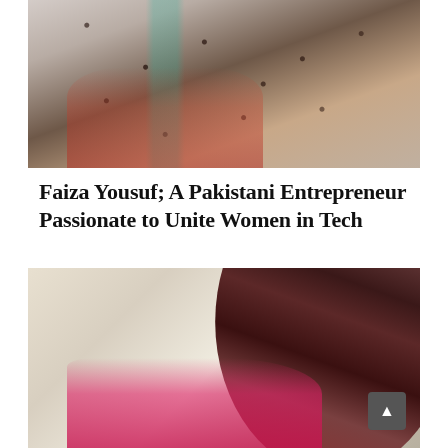[Figure (photo): Top portion of a person wearing a polka-dot patterned top with a teal/turquoise element visible, warm brown background]
Faiza Yousuf; A Pakistani Entrepreneur Passionate to Unite Women in Tech
[Figure (photo): Portrait photo of a woman (Faiza Yousuf) with long dark hair, wearing a pink floral top, resting her arm on a surface, light beige background]